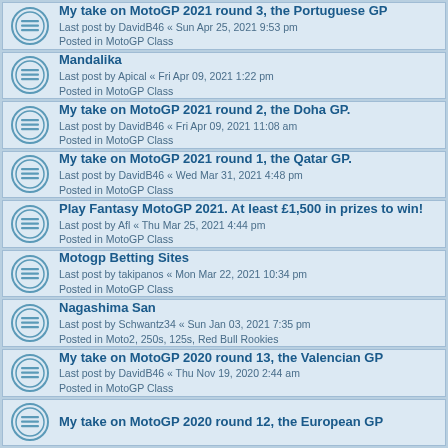My take on MotoGP 2021 round 3, the Portuguese GP
Last post by DavidB46 « Sun Apr 25, 2021 9:53 pm
Posted in MotoGP Class
Mandalika
Last post by Apical « Fri Apr 09, 2021 1:22 pm
Posted in MotoGP Class
My take on MotoGP 2021 round 2, the Doha GP.
Last post by DavidB46 « Fri Apr 09, 2021 11:08 am
Posted in MotoGP Class
My take on MotoGP 2021 round 1, the Qatar GP.
Last post by DavidB46 « Wed Mar 31, 2021 4:48 pm
Posted in MotoGP Class
Play Fantasy MotoGP 2021. At least £1,500 in prizes to win!
Last post by Afl « Thu Mar 25, 2021 4:44 pm
Posted in MotoGP Class
Motogp Betting Sites
Last post by takipanos « Mon Mar 22, 2021 10:34 pm
Posted in MotoGP Class
Nagashima San
Last post by Schwantz34 « Sun Jan 03, 2021 7:35 pm
Posted in Moto2, 250s, 125s, Red Bull Rookies
My take on MotoGP 2020 round 13, the Valencian GP
Last post by DavidB46 « Thu Nov 19, 2020 2:44 am
Posted in MotoGP Class
My take on MotoGP 2020 round 12, the European GP